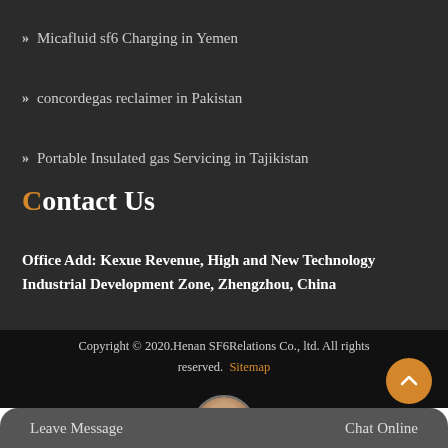Micafluid sf6 Charging in Yemen
concordegas reclaimer in Pakistan
Portable Insulated gas Servicing in Tajikistan
Contact Us
Office Add: Kexue Revenue, High and New Technology Industrial Development Zone, Zhengzhou, China
Copyright © 2020.Henan SF6Relations Co., ltd. All rights reserved. Sitemap
Leave Message
Chat Online